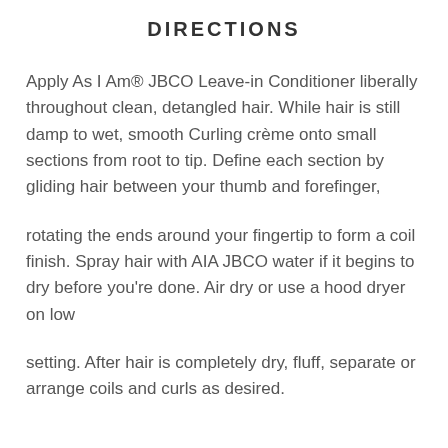DIRECTIONS
Apply As I Am® JBCO Leave-in Conditioner liberally throughout clean, detangled hair. While hair is still damp to wet, smooth Curling crème onto small sections from root to tip. Define each section by gliding hair between your thumb and forefinger,
rotating the ends around your fingertip to form a coil finish. Spray hair with AIA JBCO water if it begins to dry before you're done. Air dry or use a hood dryer on low
setting. After hair is completely dry, fluff, separate or arrange coils and curls as desired.